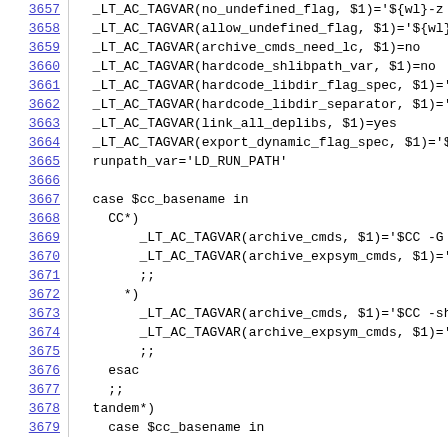3657  _LT_AC_TAGVAR(no_undefined_flag, $1)='${wl}-z
3658  _LT_AC_TAGVAR(allow_undefined_flag, $1)='${wl}
3659  _LT_AC_TAGVAR(archive_cmds_need_lc, $1)=no
3660  _LT_AC_TAGVAR(hardcode_shlibpath_var, $1)=no
3661  _LT_AC_TAGVAR(hardcode_libdir_flag_spec, $1)='
3662  _LT_AC_TAGVAR(hardcode_libdir_separator, $1)='
3663  _LT_AC_TAGVAR(link_all_deplibs, $1)=yes
3664  _LT_AC_TAGVAR(export_dynamic_flag_spec, $1)='$
3665  runpath_var='LD_RUN_PATH'
3666
3667  case $cc_basename in
3668    CC*)
3669        _LT_AC_TAGVAR(archive_cmds, $1)='$CC -G ${
3670        _LT_AC_TAGVAR(archive_expsym_cmds, $1)='$C
3671        ;;
3672      *)
3673        _LT_AC_TAGVAR(archive_cmds, $1)='$CC -shar
3674        _LT_AC_TAGVAR(archive_expsym_cmds, $1)='$C
3675        ;;
3676    esac
3677    ;;
3678  tandem*)
3679    case $cc_basename in